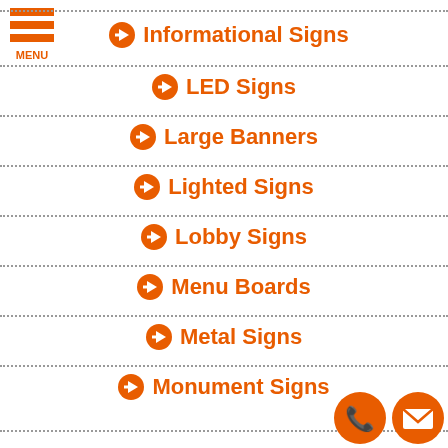Informational Signs
LED Signs
Large Banners
Lighted Signs
Lobby Signs
Menu Boards
Metal Signs
Monument Signs